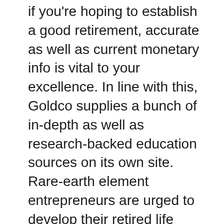if you're hoping to establish a good retirement, accurate as well as current monetary info is vital to your excellence. In line with this, Goldco supplies a bunch of in-depth as well as research-backed education sources on its own site. Rare-earth element entrepreneurs are urged to develop their retired life expenditure expertise using these magazines to create even more knowledgeable financial selections for the future. Goldco's chest of academic components features:.
A complimentary Self-Directed IRA resource summarizing the different parts of rare-earth elements individual retirement account assets.